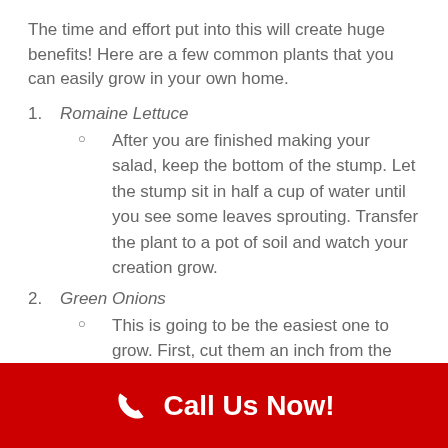The time and effort put into this will create huge benefits! Here are a few common plants that you can easily grow in your own home.
1. Romaine Lettuce
After you are finished making your salad, keep the bottom of the stump. Let the stump sit in half a cup of water until you see some leaves sprouting. Transfer the plant to a pot of soil and watch your creation grow.
2. Green Onions
This is going to be the easiest one to grow. First, cut them an inch from the root and place them into some water. Bam! All you
Call Us Now!